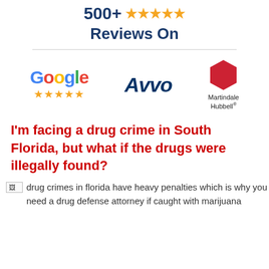500+ ★★★★★ Reviews On
[Figure (logo): Google logo with five gold stars below it, Avvo logo in dark blue italic, Martindale Hubbell logo with red hexagon badge]
I'm facing a drug crime in South Florida, but what if the drugs were illegally found?
[Figure (photo): Broken image placeholder with alt text: drug crimes in florida have heavy penalties which is why you need a drug defense attorney if caught with marijuana]